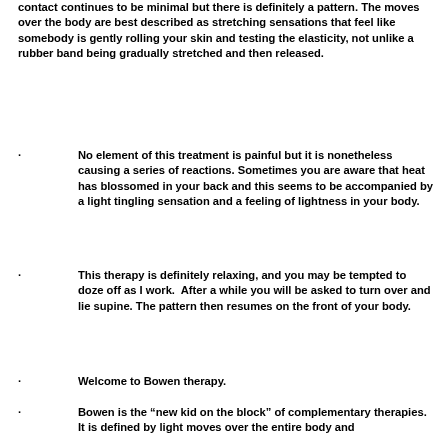contact continues to be minimal but there is definitely a pattern. The moves over the body are best described as stretching sensations that feel like somebody is gently rolling your skin and testing the elasticity, not unlike a rubber band being gradually stretched and then released.
No element of this treatment is painful but it is nonetheless causing a series of reactions. Sometimes you are aware that heat has blossomed in your back and this seems to be accompanied by a light tingling sensation and a feeling of lightness in your body.
This therapy is definitely relaxing, and you may be tempted to doze off as I work. After a while you will be asked to turn over and lie supine. The pattern then resumes on the front of your body.
Welcome to Bowen therapy.
Bowen is the “new kid on the block” of complementary therapies. It is defined by light moves over the entire body and